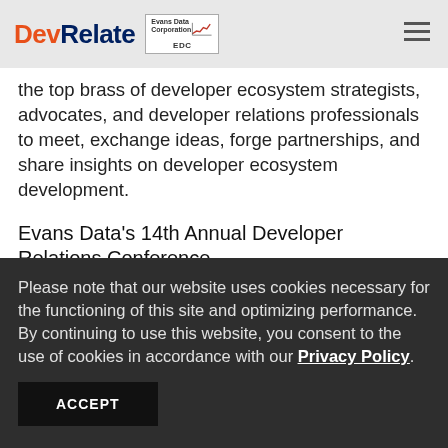DevRelate | Evans Data Corporation EDC
The Developer Relations Conference brings together the top brass of developer ecosystem strategists, advocates, and developer relations professionals to meet, exchange ideas, forge partnerships, and share insights on developer ecosystem development.
Evans Data's 14th Annual Developer Relations Conference
Please note that our website uses cookies necessary for the functioning of this site and optimizing performance. By continuing to use this website, you consent to the use of cookies in accordance with our Privacy Policy.